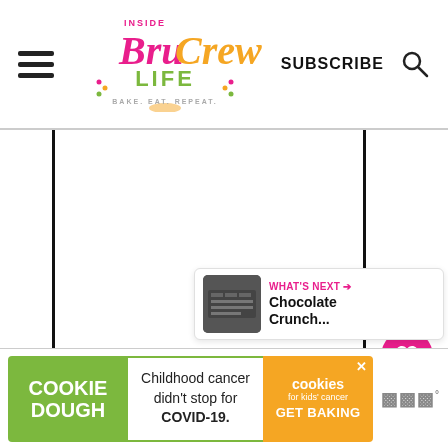[Figure (logo): Inside BruCrew Life logo with cupcake graphic and tagline BAKE. EAT. REPEAT.]
SUBSCRIBE
[Figure (infographic): White content area with left and right black vertical border bars]
[Figure (infographic): Pink heart/save button showing 1.9K saves, and a share button on the right sidebar]
[Figure (infographic): What's Next card: Chocolate Crunch... with thumbnail image]
[Figure (infographic): Cookie Dough ad banner: COOKIE DOUGH / Childhood cancer didn't stop for COVID-19. / cookies for kids cancer GET BAKING]